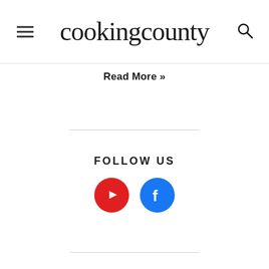cookingcounty
Read More »
FOLLOW US
[Figure (infographic): YouTube icon (red circle with white play button) and Facebook icon (blue circle with white f logo)]